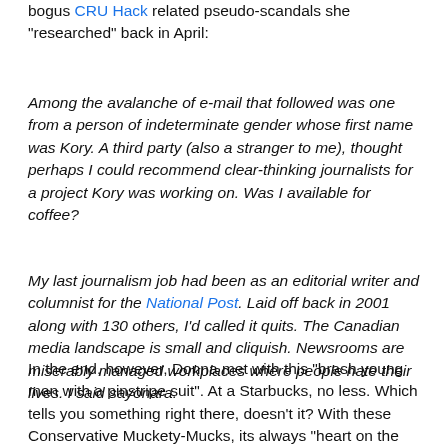bogus CRU Hack related pseudo-scandals she "researched" back in April:
Among the avalanche of e-mail that followed was one from a person of indeterminate gender whose first name was Kory. A third party (also a stranger to me), thought perhaps I could recommend clear-thinking journalists for a project Kory was working on. Was I available for coffee?
My last journalism job had been as an editorial writer and columnist for the National Post. Laid off back in 2001 along with 130 others, I'd called it quits. The Canadian media landscape is small and cliquish. Newsrooms are miserably managed workplaces where people hate their lives. I said sayonara.
In the end, however, Donna met with this "brash young man with a pinstripe suit". At a Starbucks, no less. Which tells you something right there, doesn't it? With these Conservative Muckety-Mucks, its always "heart on the right, coffee mug on the left." Because who really wants to drink the plonk that passes for coffee at Tim's if they've ever lived somewhere